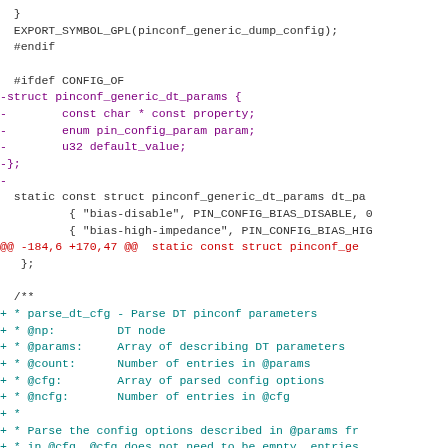Code diff showing pinconf_generic_dump_config, CONFIG_OF, struct pinconf_generic_dt_params, and parse_dt_cfg function documentation